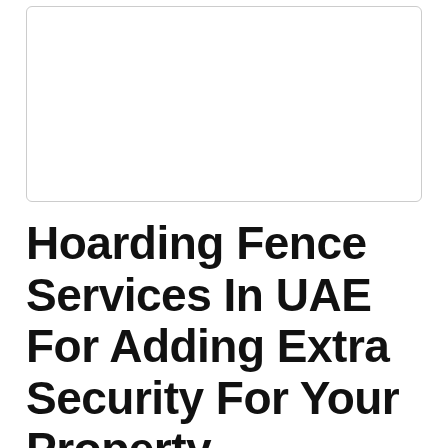[Figure (photo): Blank white image placeholder with light grey rounded border]
Hoarding Fence Services In UAE For Adding Extra Security For Your Property